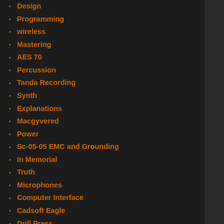Design
Programming
wireless
Mastering
AES 70
Percussion
Tanda Recording
Synth
Explanations
Macgyvered
Power
Sc-05-05 EMC and Grounding
In Memorial
Truth
Microphones
Computer Interface
Cadsoft Eagle
Drill Press
WTFYW
AES72 – QTP – Quad Twisted Pairs
Music Store
Connector